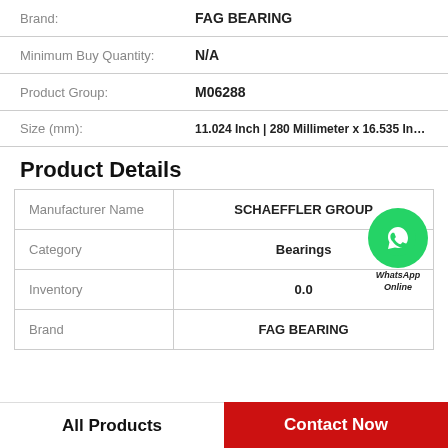Brand: FAG BEARING
Minimum Buy Quantity: N/A
Product Group: M06288
Size (mm): 11.024 Inch | 280 Millimeter x 16.535 In...
Product Details
|  |  |
| --- | --- |
| Manufacturer Name | SCHAEFFLER GROUP |
| Category | Bearings |
| Inventory | 0.0 |
| Brand | FAG BEARING |
All Products   Contact Now